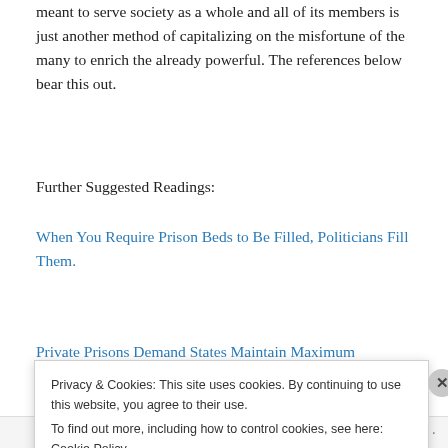meant to serve society as a whole and all of its members is just another method of capitalizing on the misfortune of the many to enrich the already powerful. The references below bear this out.
Further Suggested Readings:
When You Require Prison Beds to Be Filled, Politicians Fill Them.
Private Prisons Demand States Maintain Maximum
Privacy & Cookies: This site uses cookies. By continuing to use this website, you agree to their use.
To find out more, including how to control cookies, see here: Cookie Policy
Close and accept
Follow ...